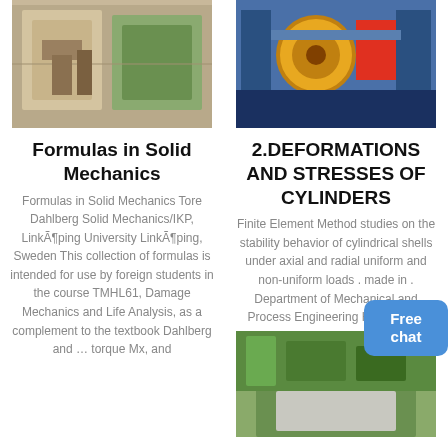[Figure (photo): Photo of a wooden/metal mechanical structure or press equipment in a workshop]
Formulas in Solid Mechanics
Formulas in Solid Mechanics Tore Dahlberg Solid Mechanics/IKP, LinkÃ¶ping University LinkÃ¶ping, Sweden This collection of formulas is intended for use by foreign students in the course TMHL61, Damage Mechanics and Life Analysis, as a complement to the textbook Dahlberg and … torque Mx, and
[Figure (photo): Photo of a blue industrial machine with a yellow/orange wheel, likely a press or crusher]
2.DEFORMATIONS AND STRESSES OF CYLINDERS
Finite Element Method studies on the stability behavior of cylindrical shells under axial and radial uniform and non-uniform loads . made in . Department of Mechanical and Process Engineering Hochschule
[Figure (photo): Photo of an outdoor industrial or construction site with vegetation and a building structure]
[Figure (infographic): Free chat button with a female figure illustration]